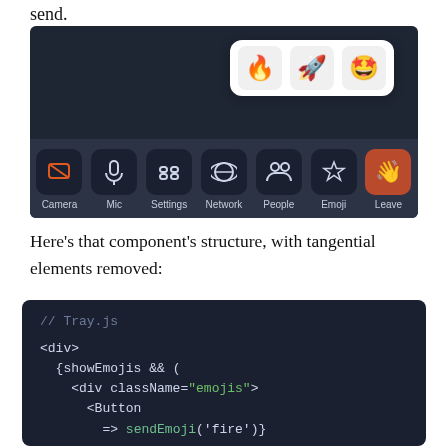send.
[Figure (screenshot): A video call toolbar UI showing Camera, Mic, Settings, Network, People, Emoji, and Leave buttons on a dark background. An emoji picker popup floats above the Emoji button showing fire, rocket, and party face emojis.]
Here’s that component’s structure, with tangential elements removed:
[Figure (screenshot): A dark-themed code editor showing Tray.js with JSX code: <div>, {showEmojis && (, <div className="emojis">, <Button, onClick={() => sendEmoji('fire')}]